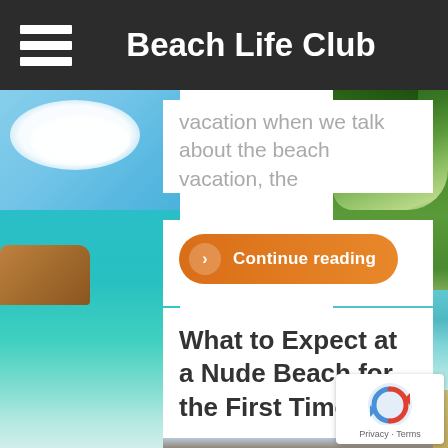Beach Life Club
vacation when we talk about the beach vacation, the
Continue reading
What to Expect at a Nude Beach for the First Time
[Figure (photo): Tropical beach background with turquoise water, blue sky, and palm trees on the right]
[Figure (photo): Beach sunset/overcast photo showing sandy beach, ocean waves, and dramatic sky]
Privacy · Terms